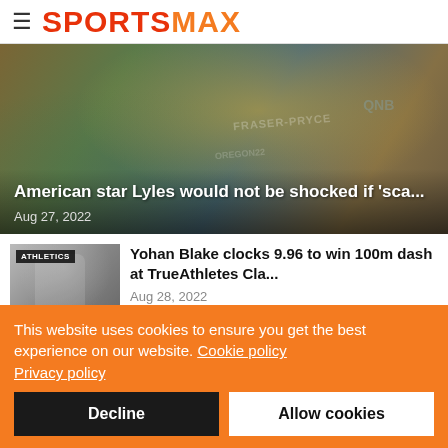SPORTSMAX
[Figure (photo): Athlete in Jamaican yellow vest (FRASER-PRYCE visible on bib), race backdrop with QNB branding and OREGON22 text]
American star Lyles would not be shocked if 'sca...
Aug 27, 2022
[Figure (photo): Male athlete in white vest with bib number, Athletics tag overlay]
Yohan Blake clocks 9.96 to win 100m dash at TrueAthletes Cla...
Aug 28, 2022
This website uses cookies to ensure you get the best experience on our website. Cookie policy
Privacy policy
Decline
Allow cookies